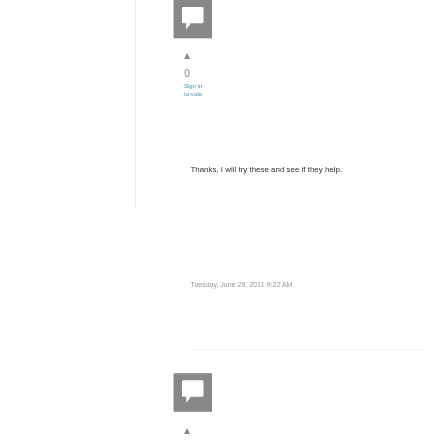[Figure (other): User avatar icon - grey square with white chat bubble symbol]
▲
0
Sign in
to vote
Thanks, I will try these and see if they help.
Tuesday, June 28, 2011 9:22 AM
[Figure (other): User avatar icon - grey square with white chat bubble symbol]
▲